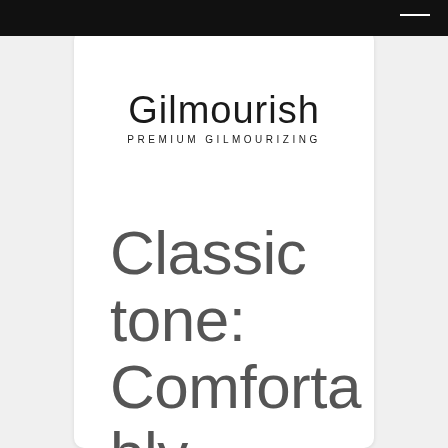[Figure (logo): Gilmourish logo with large serif-style text 'Gilmourish' and subtitle 'PREMIUM GILMOURIZING']
Classic tone: Comfortably